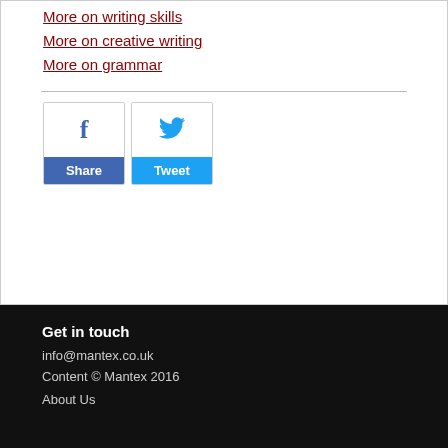More on writing skills
More on creative writing
More on grammar
[Figure (other): Facebook Share button and Twitter Tweet button]
Get in touch
info@mantex.co.uk
Content © Mantex 2016
About Us